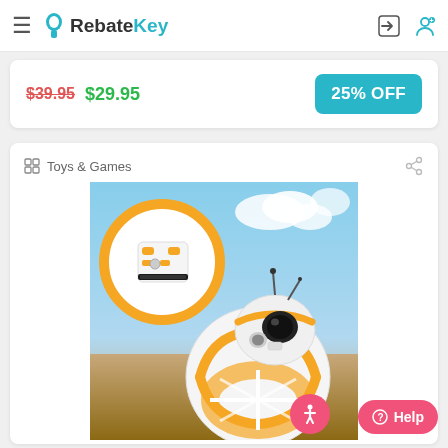RebateKey
$39.95 $29.95 25% OFF
Toys & Games
[Figure (photo): BB-8 Star Wars droid toy with orange and white coloring rolling across sand, with a circular steering wheel remote controller shown in the upper left corner]